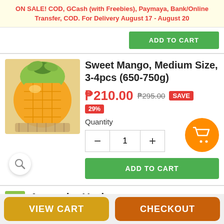ON SALE! COD, GCash (with Freebies), Paymaya, Bank/Online Transfer, COD. For Delivery August 17 - August 20
[Figure (screenshot): Green ADD TO CART button at top right]
[Figure (photo): Sweet mango fruit cut in cross-hatch pattern showing orange flesh]
Sweet Mango, Medium Size, 3-4pcs (650-750g)
₱210.00  ₱295.00  SAVE 29%
Quantity
1
ADD TO CART
[Figure (photo): Avocado, Unripe - partial image visible at bottom]
Avocado, Unripe
VIEW CART   CHECKOUT